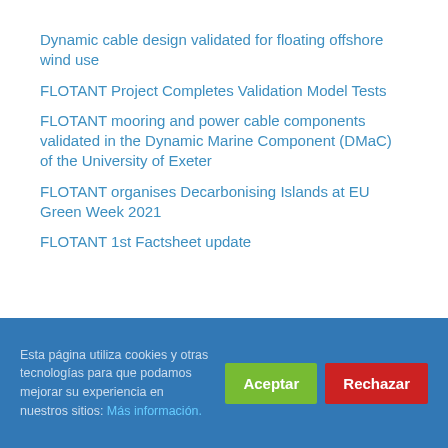Dynamic cable design validated for floating offshore wind use
FLOTANT Project Completes Validation Model Tests
FLOTANT mooring and power cable components validated in the Dynamic Marine Component (DMaC) of the University of Exeter
FLOTANT organises Decarbonising Islands at EU Green Week 2021
FLOTANT 1st Factsheet update
Esta página utiliza cookies y otras tecnologías para que podamos mejorar su experiencia en nuestros sitios: Más información.